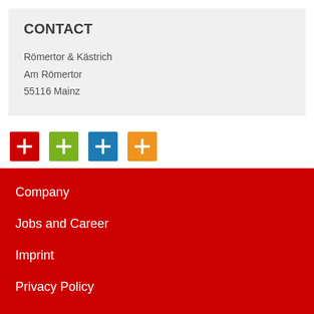CONTACT
Römertor & Kästrich
Am Römertor
55116 Mainz
[Figure (infographic): Four colored plus/add icon buttons in a row: red, green/olive, blue, and orange]
Company
Jobs and Career
Imprint
Privacy Policy